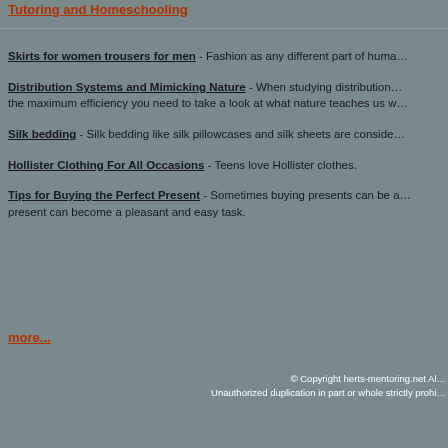Tutoring and Homeschooling
Skirts for women trousers for men - Fashion as any different part of huma...
Distribution Systems and Mimicking Nature - When studying distribution... the maximum efficiency you need to take a look at what nature teaches us w...
Silk bedding - Silk bedding like silk pillowcases and silk sheets are conside...
Hollister Clothing For All Occasions - Teens love Hollister clothes.
Tips for Buying the Perfect Present - Sometimes buying presents can be a... present can become a pleasant and easy task.
more...
© Copyright herts-mentoring.net Al... Unauthorized duplication in part or whole strictly prohi...